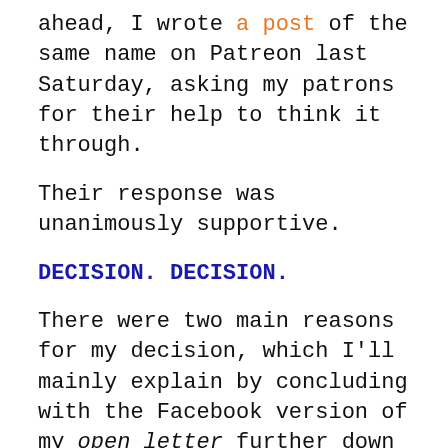ahead, I wrote a post of the same name on Patreon last Saturday, asking my patrons for their help to think it through.
Their response was unanimously supportive.
DECISION. DECISION.
There were two main reasons for my decision, which I'll mainly explain by concluding with the Facebook version of my open letter further down the page.
But first, let me flesh out some of the details I shared with my patrons last